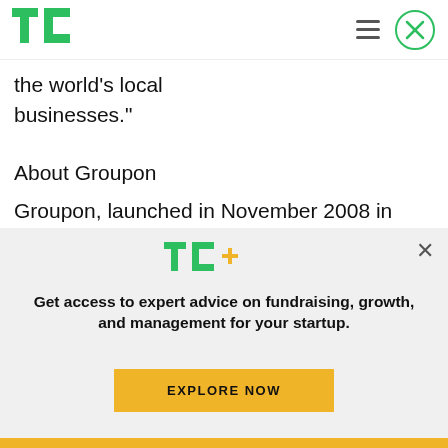TechCrunch
the world's local businesses."
About Groupon
Groupon, launched in November 2008 in Chicago, features a daily deal on the best stuff to do, eat, see and buy in more than 500 markets around the
[Figure (logo): TechCrunch TC+ logo with plus sign in orange/yellow]
Get access to expert advice on fundraising, growth, and management for your startup.
EXPLORE NOW